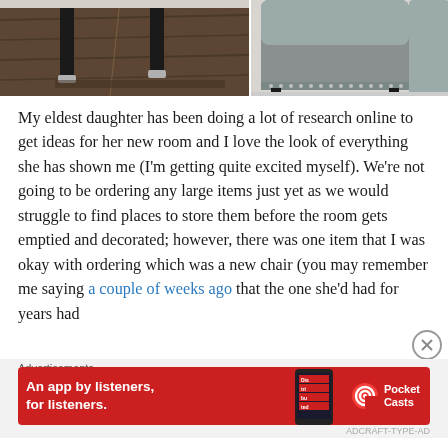[Figure (photo): Two side-by-side photos: left shows dark wood floor with black table/chair legs with silver feet; right shows the back of a grey upholstered chair with stud detail and black legs against a white wall.]
My eldest daughter has been doing a lot of research online to get ideas for her new room and I love the look of everything she has shown me (I'm getting quite excited myself). We're not going to be ordering any large items just yet as we would struggle to find places to store them before the room gets emptied and decorated; however, there was one item that I was okay with ordering which was a new chair (you may remember me saying a couple of weeks ago that the one she'd had for years had
Advertisements
[Figure (other): Red advertisement banner for Pocket Casts: 'An app by listeners, for listeners.' with a phone showing 'Distributed' podcast app and the Pocket Casts logo.]